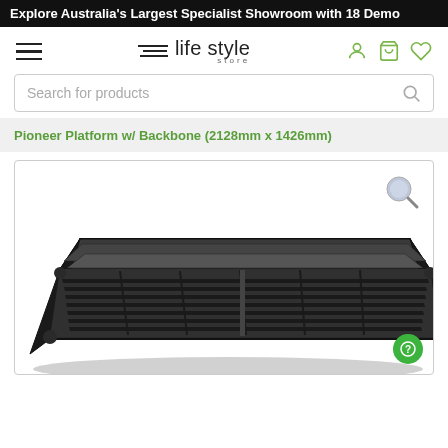Explore Australia's Largest Specialist Showroom with 18 Demo
[Figure (logo): Life Style Store logo with hamburger menu and navigation icons (user, cart, wishlist)]
Search for products
Pioneer Platform w/ Backbone (2128mm x 1426mm)
[Figure (photo): Black aluminium Pioneer Platform roof rack with backbone system, viewed from a 3/4 angle showing slatted rectangular platform with T-slot channels.]